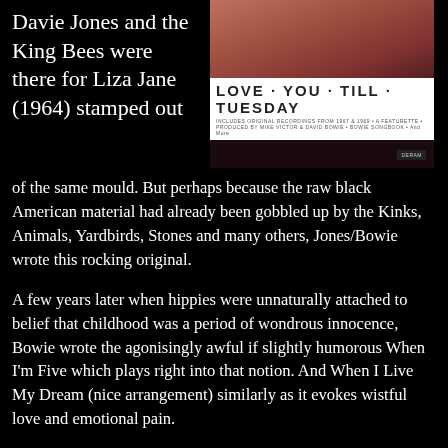Davie Jones and the King Bees were there for Liza Jane (1964) stamped out of the same mould. But perhaps because the raw black American material had already been gobbled up by the Kinks, Animals, Yardbirds, Stones and many others, Jones/Bowie wrote this rocking original.
[Figure (photo): Album cover for 'Love You Till Tuesday' showing a close-up of a face and the album title in bold letters on a white band.]
A few years later when hippies were unnaturally attached to belief that childhood was a period of wondrous innocence, Bowie wrote the agonisingly awful if slightly humorous When I'm Five which plays right into that notion. And When I Live My Dream (nice arrangement) similarly as it evokes wistful love and emotional pain.
His Britishness comes through on Sell Me a Coat (which might have made a place on Oliver!) and the Penny Lane-nostalgia of Rubber Band (released two months before the Beatles song and